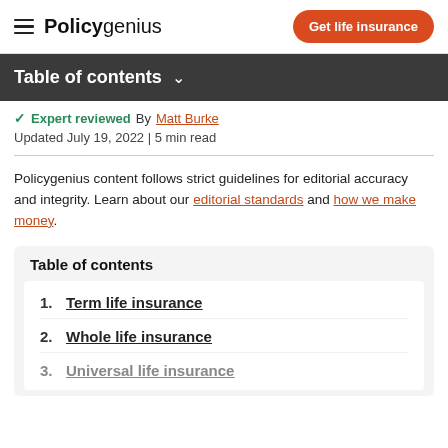Policygenius | Get life insurance
Table of contents
Expert reviewed By Matt Burke
Updated July 19, 2022 | 5 min read
Policygenius content follows strict guidelines for editorial accuracy and integrity. Learn about our editorial standards and how we make money.
Table of contents
1. Term life insurance
2. Whole life insurance
3. Universal life insurance